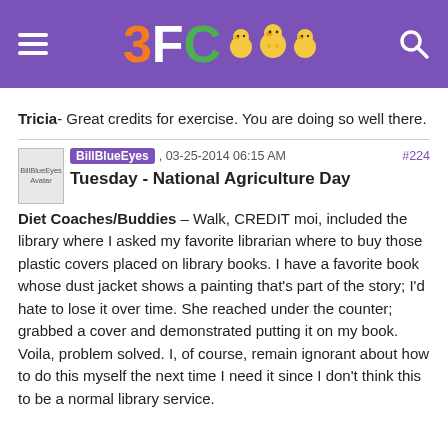3FC [logo with chicks]
Tricia- Great credits for exercise. You are doing so well there.
BillBlueEyes , 03-25-2014 06:15 AM #224
Tuesday - National Agriculture Day
Diet Coaches/Buddies – Walk, CREDIT moi, included the library where I asked my favorite librarian where to buy those plastic covers placed on library books. I have a favorite book whose dust jacket shows a painting that's part of the story; I'd hate to lose it over time. She reached under the counter; grabbed a cover and demonstrated putting it on my book. Voila, problem solved. I, of course, remain ignorant about how to do this myself the next time I need it since I don't think this to be a normal library service.